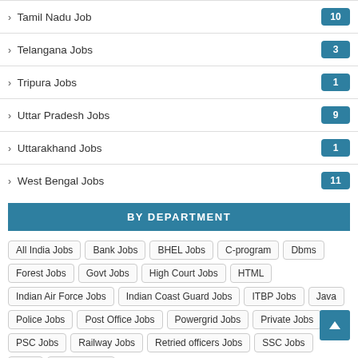Tamil Nadu Job 10
Telangana Jobs 3
Tripura Jobs 1
Uttar Pradesh Jobs 9
Uttarakhand Jobs 1
West Bengal Jobs 11
BY DEPARTMENT
All India Jobs  Bank Jobs  BHEL Jobs  C-program  Dbms  Forest Jobs  Govt Jobs  High Court Jobs  HTML  Indian Air Force Jobs  Indian Coast Guard Jobs  ITBP Jobs  Java  Police Jobs  Post Office Jobs  Powergrid Jobs  Private Jobs  PSC Jobs  Railway Jobs  Retried officers Jobs  SSC Jobs  Tally  Visual-basic